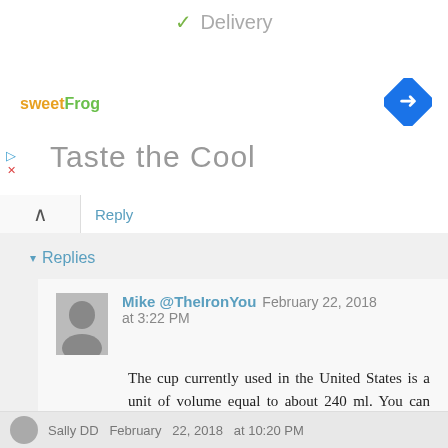[Figure (screenshot): Ad banner with sweetFrog logo, 'Taste the Cool' tagline, Google Maps turn icon, and 'Delivery' header with checkmark]
Reply
▾ Replies
Mike @TheIronYou   February 22, 2018 at 3:22 PM
The cup currently used in the United States is a unit of volume equal to about 240 ml. You can find conversion tables on-line
Reply
Sally DD  February 22, 2018 at 10:20 PM